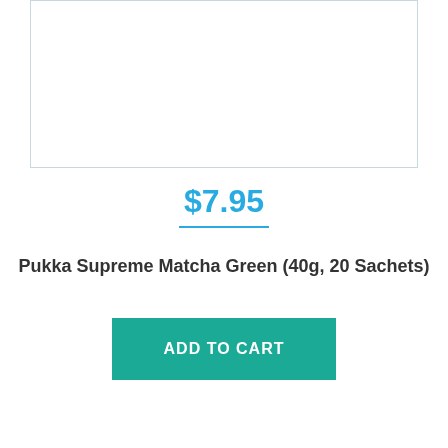[Figure (other): Product image placeholder box with light blue border, empty white interior]
$7.95
Pukka Supreme Matcha Green (40g, 20 Sachets)
ADD TO CART